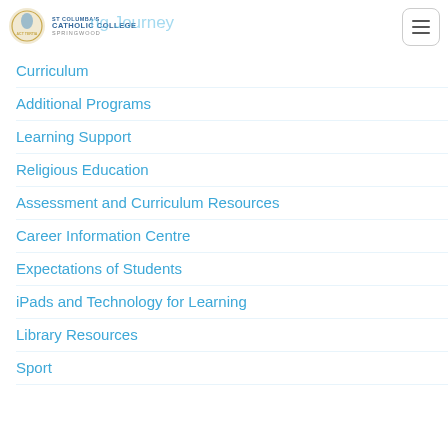ST COLUMBA'S CATHOLIC COLLEGE SPRINGWOOD
Curriculum
Additional Programs
Learning Support
Religious Education
Assessment and Curriculum Resources
Career Information Centre
Expectations of Students
iPads and Technology for Learning
Library Resources
Sport